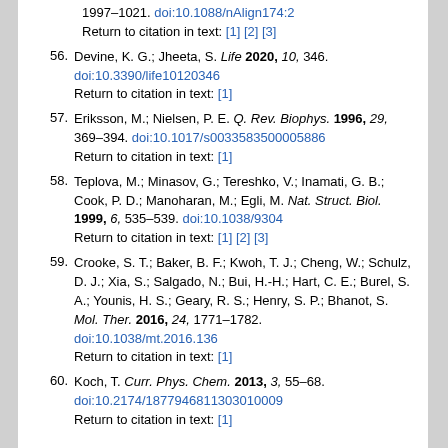[top fragment] 1997–1021. doi:10.1088/nAlign174:2 Return to citation in text: [1] [2] [3]
56. Devine, K. G.; Jheeta, S. Life 2020, 10, 346. doi:10.3390/life10120346 Return to citation in text: [1]
57. Eriksson, M.; Nielsen, P. E. Q. Rev. Biophys. 1996, 29, 369–394. doi:10.1017/s0033583500005886 Return to citation in text: [1]
58. Teplova, M.; Minasov, G.; Tereshko, V.; Inamati, G. B.; Cook, P. D.; Manoharan, M.; Egli, M. Nat. Struct. Biol. 1999, 6, 535–539. doi:10.1038/9304 Return to citation in text: [1] [2] [3]
59. Crooke, S. T.; Baker, B. F.; Kwoh, T. J.; Cheng, W.; Schulz, D. J.; Xia, S.; Salgado, N.; Bui, H.-H.; Hart, C. E.; Burel, S. A.; Younis, H. S.; Geary, R. S.; Henry, S. P.; Bhanot, S. Mol. Ther. 2016, 24, 1771–1782. doi:10.1038/mt.2016.136 Return to citation in text: [1]
60. Koch, T. Curr. Phys. Chem. 2013, 3, 55–68. doi:10.2174/1877946811303010009 Return to citation in text: [1]